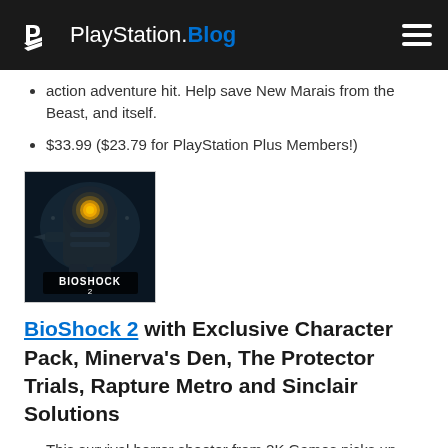PlayStation.Blog
action adventure hit. Help save New Marais from the Beast, and itself.
$33.99 ($23.79 for PlayStation Plus Members!)
[Figure (photo): BioShock 2 game cover thumbnail showing a Big Daddy character in underwater setting with glowing eye]
BioShock 2 with Exclusive Character Pack, Minerva's Den, The Protector Trials, Rapture Metro and Sinclair Solutions
This survival horror shooter from 2K Games picks up eight years after the ending of the